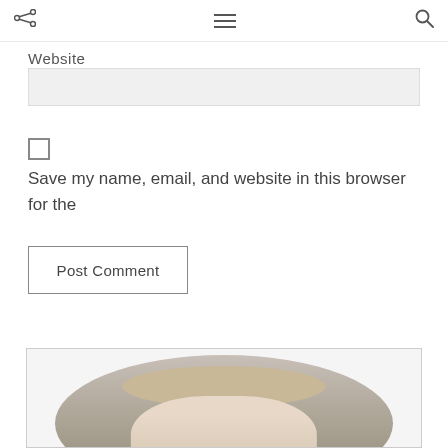Website
Save my name, email, and website in this browser for the next time I comment.
Post Comment
[Figure (photo): Circular profile photo of a blonde woman wearing a grey/beige outfit, against a light stone/concrete background. Photo is cropped circularly inside a white rectangular card with a light grey border.]